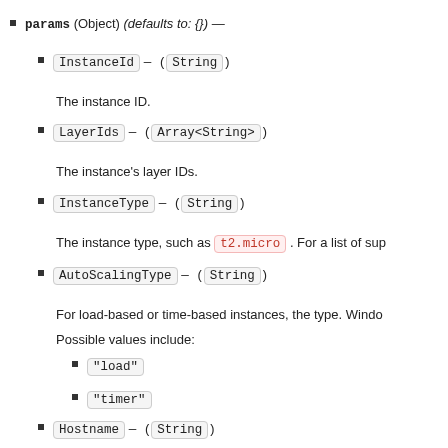params (Object) (defaults to: {}) —
InstanceId — (String)
The instance ID.
LayerIds — (Array<String>)
The instance's layer IDs.
InstanceType — (String)
The instance type, such as t2.micro. For a list of sup
AutoScalingType — (String)
For load-based or time-based instances, the type. Windo
Possible values include:
"load"
"timer"
Hostname — (String)